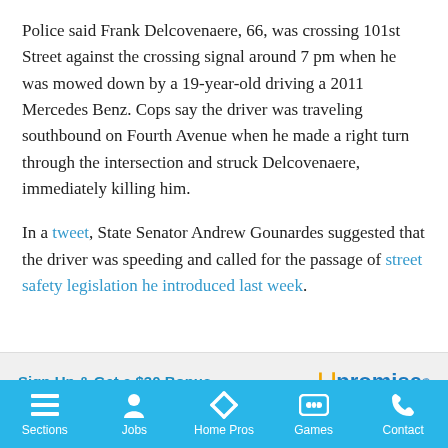Police said Frank Delcovenaere, 66, was crossing 101st Street against the crossing signal around 7 pm when he was mowed down by a 19-year-old driving a 2011 Mercedes Benz. Cops say the driver was traveling southbound on Fourth Avenue when he made a right turn through the intersection and struck Delcovenaere, immediately killing him.
In a tweet, State Senator Andrew Gounardes suggested that the driver was speeding and called for the passage of street safety legislation he introduced last week.
[Figure (other): Advertisement banner: 'Sign Up & Get a $30 Bonus' with Upromise logo on right]
Sections | Jobs | Home Pros | Games | Contact